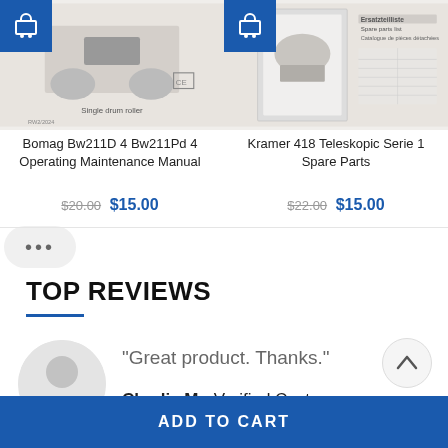[Figure (screenshot): Product card: Bomag Bw211D 4 Bw211Pd 4 Operating Maintenance Manual - thumbnail showing single drum roller document cover with shopping cart icon]
Bomag Bw211D 4 Bw211Pd 4 Operating Maintenance Manual
$20.00 $15.00
[Figure (screenshot): Product card: Kramer 418 Teleskopic Serie 1 Spare Parts - thumbnail showing spare parts catalogue document cover with shopping cart icon]
Kramer 418 Teleskopic Serie 1 Spare Parts
$22.00 $15.00
TOP REVIEWS
“Great product. Thanks.”
Charlie M - Verified Customer